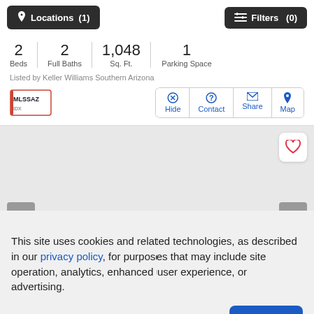[Figure (screenshot): Top navigation bar with Locations (1) and Filters (0) buttons on dark background]
2 Beds  2 Full Baths  1,048 Sq. Ft.  1 Parking Space
Listed by Keller Williams Southern Arizona
[Figure (logo): MLSSAZ IDX logo]
Hide  Contact  Share  Map
[Figure (photo): Property photo area with heart/favorite button and gray tab indicators]
This site uses cookies and related technologies, as described in our privacy policy, for purposes that may include site operation, analytics, enhanced user experience, or advertising.
Manage Preferences  Accept